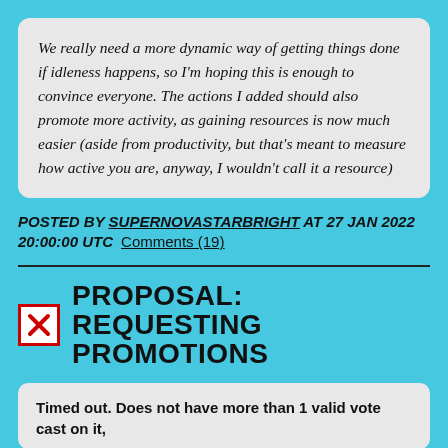We really need a more dynamic way of getting things done if idleness happens, so I'm hoping this is enough to convince everyone. The actions I added should also promote more activity, as gaining resources is now much easier (aside from productivity, but that's meant to measure how active you are, anyway, I wouldn't call it a resource)
POSTED BY SUPERNOVASTARBRIGHT AT 27 JAN 2022 20:00:00 UTC  Comments (19)
PROPOSAL: REQUESTING PROMOTIONS
Timed out. Does not have more than 1 valid vote cast on it,